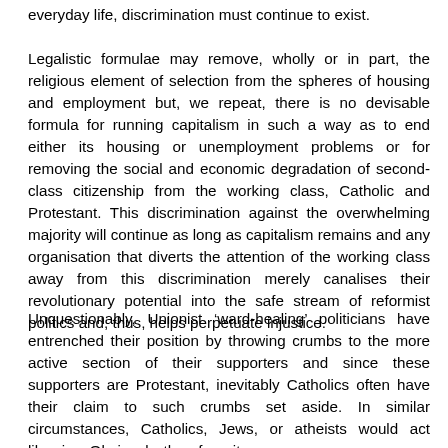everyday life, discrimination must continue to exist.
Legalistic formulae may remove, wholly or in part, the religious element of selection from the spheres of housing and employment but, we repeat, there is no devisable formula for running capitalism in such a way as to end either its housing or unemployment problems or for removing the social and economic degradation of second-class citizenship from the working class, Catholic and Protestant. This discrimination against the overwhelming majority will continue as long as capitalism remains and any organisation that diverts the attention of the working class away from this discrimination merely canalises their revolutionary potential into the safe stream of reformist politics and, thus, helps perpetuate injustice.
Unquestionably, Unionist ‘ward-healing’ politicians have entrenched their position by throwing crumbs to the more active section of their supporters and since these supporters are Protestant, inevitably Catholics often have their claim to such crumbs set aside. In similar circumstances, Catholics, Jews, or atheists would act likewise. Obviously, therefore, it